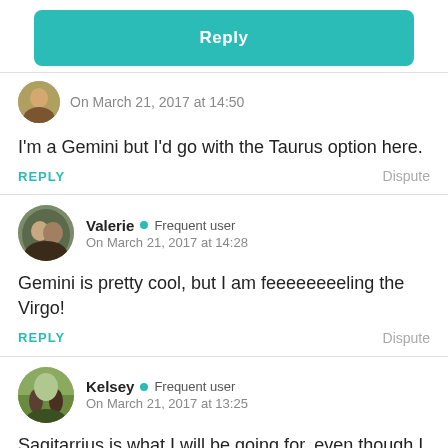[Figure (other): Teal rounded Reply button]
[Figure (photo): Partial circular avatar of a person, cropped at top]
On March 21, 2017 at 14:50
I'm a Gemini but I'd go with the Taurus option here.
REPLY
Dispute
[Figure (photo): Circular avatar photo of Valerie, a woman with a man outdoors]
Valerie • Frequent user
On March 21, 2017 at 14:28
Gemini is pretty cool, but I am feeeeeeeeling the Virgo!
REPLY
Dispute
[Figure (photo): Circular avatar photo of Kelsey, people outdoors with trees]
Kelsey • Frequent user
On March 21, 2017 at 13:25
Sagitarrius is what I will be going for, even though I am